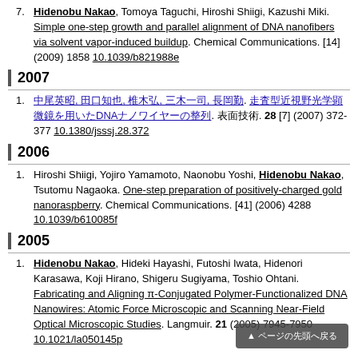7. Hidenobu Nakao, Tomoya Taguchi, Hiroshi Shiigi, Kazushi Miki. Simple one-step growth and parallel alignment of DNA nanofibers via solvent vapor-induced buildup. Chemical Communications. [14] (2009) 1858 10.1039/b821988e
2007
1. [Japanese text], [Japanese text], [Japanese text], [Japanese text], [Japanese text]. [Japanese article title]. [Japanese journal]. 28 [7] (2007) 372-377 10.1380/jsssj.28.372
2006
1. Hiroshi Shiigi, Yojiro Yamamoto, Naonobu Yoshi, Hidenobu Nakao, Tsutomu Nagaoka. One-step preparation of positively-charged gold nanoraspberry. Chemical Communications. [41] (2006) 4288 10.1039/b610085f
2005
1. Hidenobu Nakao, Hideki Hayashi, Futoshi Iwata, Hidenori Karasawa, Koji Hirano, Shigeru Sugiyama, Toshio Ohtani. Fabricating and Aligning π-Conjugated Polymer-Functionalized DNA Nanowires: Atomic Force Microscopic and Scanning Near-Field Optical Microscopic Studies. Langmuir. 21 (2005) 7945-7950 10.1021/la050145p